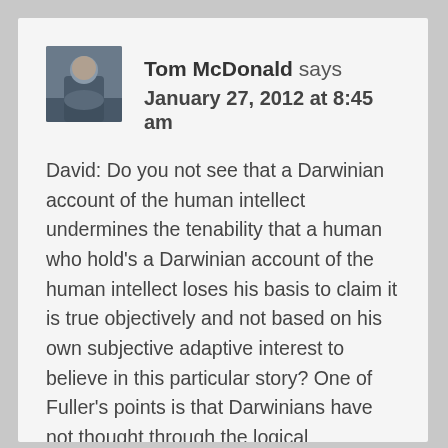Tom McDonald says
January 27, 2012 at 8:45 am
David: Do you not see that a Darwinian account of the human intellect undermines the tenability that a human who hold's a Darwinian account of the human intellect loses his basis to claim it is true objectively and not based on his own subjective adaptive interest to believe in this particular story? One of Fuller's points is that Darwinians have not thought through the logical implication that their account turned on the question of human reason completely undermines any claim